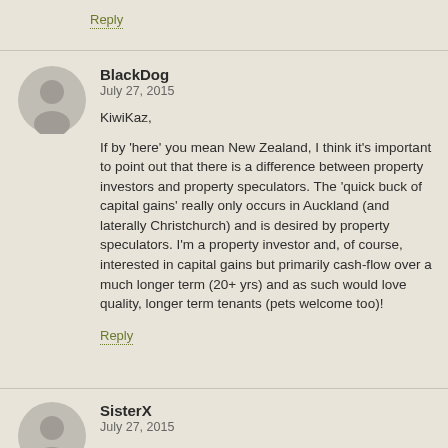Reply
BlackDog
July 27, 2015

KiwiKaz,

If by 'here' you mean New Zealand, I think it's important to point out that there is a difference between property investors and property speculators. The 'quick buck of capital gains' really only occurs in Auckland (and laterally Christchurch) and is desired by property speculators. I'm a property investor and, of course, interested in capital gains but primarily cash-flow over a much longer term (20+ yrs) and as such would love quality, longer term tenants (pets welcome too)!
Reply
SisterX
July 27, 2015

You forgot to mention that those aggravations